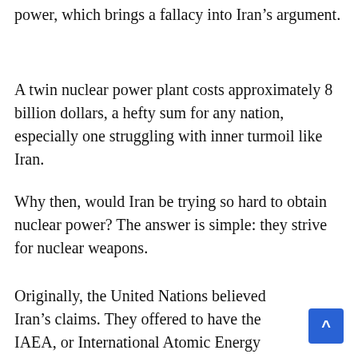power, which brings a fallacy into Iran's argument.
A twin nuclear power plant costs approximately 8 billion dollars, a hefty sum for any nation, especially one struggling with inner turmoil like Iran.
Why then, would Iran be trying so hard to obtain nuclear power? The answer is simple: they strive for nuclear weapons.
Originally, the United Nations believed Iran's claims. They offered to have the IAEA, or International Atomic Energy